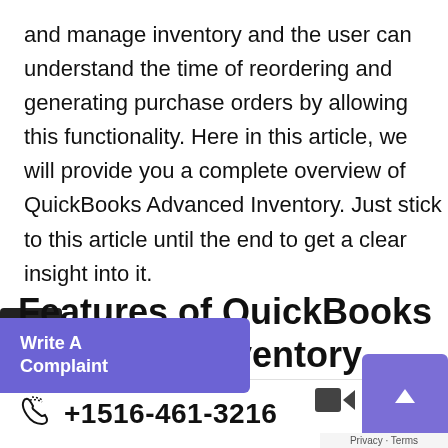and manage inventory and the user can understand the time of reordering and generating purchase orders by allowing this functionality. Here in this article, we will provide you a complete overview of QuickBooks Advanced Inventory. Just stick to this article until the end to get a clear insight into it.
Features of QuickBooks Advanced Inventory
The below-described is the following list of features that are available in the enterprise version of QuickBooks. Let's take a look at
[Figure (screenshot): UI overlay with 'Write A Complaint' purple button, copy icon, scroll-to-top purple button, phone number bar showing +1516-461-3216, and Privacy/Terms label]